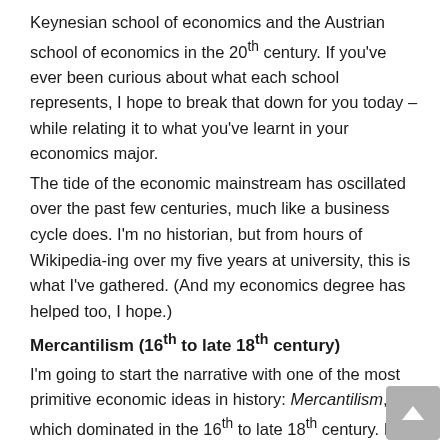Keynesian school of economics and the Austrian school of economics in the 20th century. If you've ever been curious about what each school represents, I hope to break that down for you today – while relating it to what you've learnt in your economics major.
The tide of the economic mainstream has oscillated over the past few centuries, much like a business cycle does. I'm no historian, but from hours of Wikipedia-ing over my five years at university, this is what I've gathered. (And my economics degree has helped too, I hope.)
Mercantilism (16th to late 18th century)
I'm going to start the narrative with one of the most primitive economic ideas in history: Mercantilism, which dominated in the 16th to late 18th century. In essence:
Mercantilists hold the unsophisticated notion